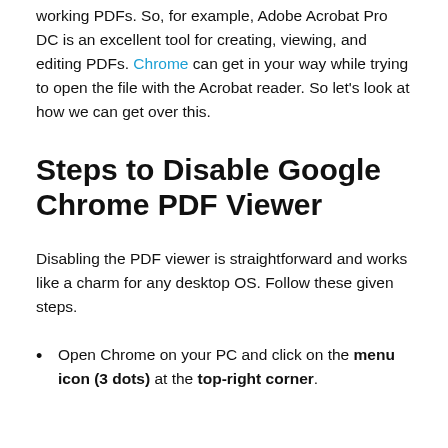working PDFs. So, for example, Adobe Acrobat Pro DC is an excellent tool for creating, viewing, and editing PDFs. Chrome can get in your way while trying to open the file with the Acrobat reader. So let's look at how we can get over this.
Steps to Disable Google Chrome PDF Viewer
Disabling the PDF viewer is straightforward and works like a charm for any desktop OS. Follow these given steps.
Open Chrome on your PC and click on the menu icon (3 dots) at the top-right corner.